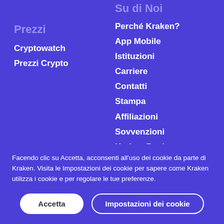Su di Noi
Prezzi
Cryptowatch
Prezzi Crypto
Perché Kraken?
App Mobile
Istituzioni
Carriere
Contatti
Stampa
Affiliazioni
Sovvenzioni
Kraken Bank
Facendo clic su Accetta, acconsenti all'uso dei cookie da parte di Kraken. Visita le Impostazioni dei cookie per sapere come Kraken utilizza i cookie e per regolare le tue preferenze.
Accetta
Impostazioni dei cookie